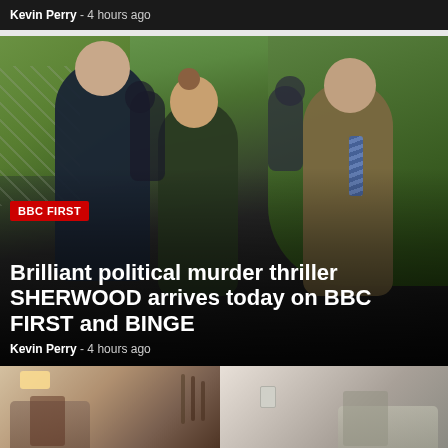Kevin Perry - 4 hours ago
[Figure (photo): Three actors from BBC drama Sherwood walking along a leafy path with police officers in background. A tall man in dark jacket on left, a woman in olive jacket in centre, and an older man in suit with striped tie on right.]
BBC FIRST
Brilliant political murder thriller SHERWOOD arrives today on BBC FIRST and BINGE
Kevin Perry - 4 hours ago
[Figure (photo): Partial view of a second article card showing an interior scene with two people, split into left and right halves.]